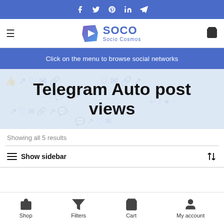Social media icons bar (Facebook, Twitter, Pinterest, LinkedIn, Telegram)
[Figure (logo): Socio Cosmos logo with diamond play button icon and text SOCO / Socio Cosmos]
Click on the menu to browse social networks
Telegram Auto post views
Showing all 5 results
Show sidebar
Shop   Filters   Cart   My account